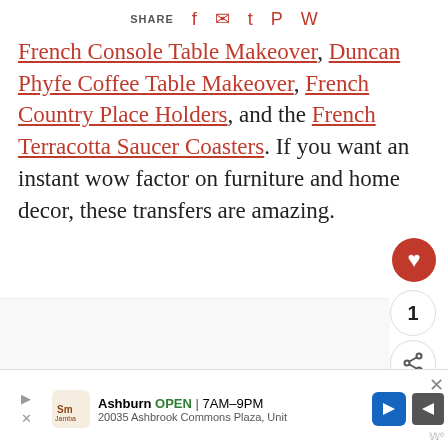SHARE [facebook] [email] [twitter] [pinterest] [whatsapp]
French Console Table Makeover, Duncan Phyfe Coffee Table Makeover, French Country Place Holders, and the French Terracotta Saucer Coasters. If you want an instant wow factor on furniture and home decor, these transfers are amazing.
[Figure (photo): Image carousel placeholder with navigation dots]
[Figure (photo): What's Next thumbnail - French Country flower arrangement]